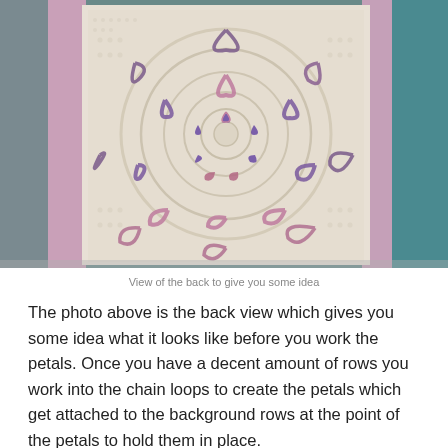[Figure (photo): Close-up photo of the back of a crocheted piece showing a circular lace medallion in cream/white yarn with purple and pink yarn visible through the openwork, surrounded by pink and teal border strips.]
View of the back to give you some idea
The photo above is the back view which gives you some idea what it looks like before you work the petals. Once you have a decent amount of rows you work into the chain loops to create the petals which get attached to the background rows at the point of the petals to hold them in place.